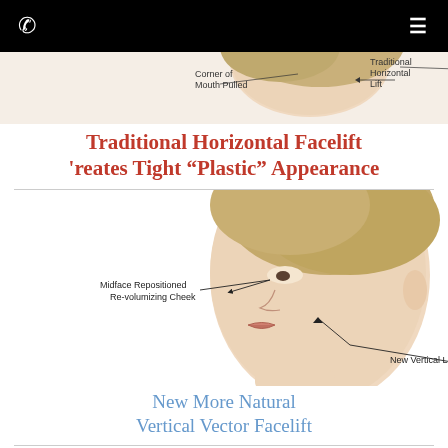Navigation bar with phone icon and menu icon
[Figure (illustration): Medical illustration showing a woman's face profile with annotation 'Corner of Mouth Pulled' and 'Traditional Horizontal Lift' showing the effect of a traditional horizontal facelift]
Traditional Horizontal Facelift Creates Tight "Plastic" Appearance
[Figure (illustration): Medical illustration of a woman's face in profile view with arrows pointing to 'Midface Repositioned Re-volumizing Cheek' and 'New Vertical Lift' demonstrating the vertical vector facelift technique]
New More Natural Vertical Vector Facelift
The vertical facelift cost, as done by Dr. Jacono, is very